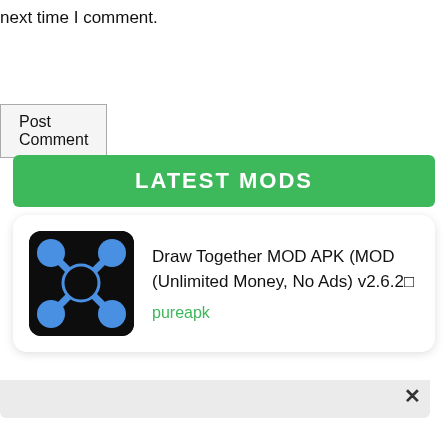next time I comment.
Post Comment
LATEST MODS
[Figure (screenshot): Draw Together app icon: black rounded square with blue circle-connected nodes in an X pattern]
Draw Together MOD APK (MOD (Unlimited Money, No Ads) v2.6.2 
pureapk